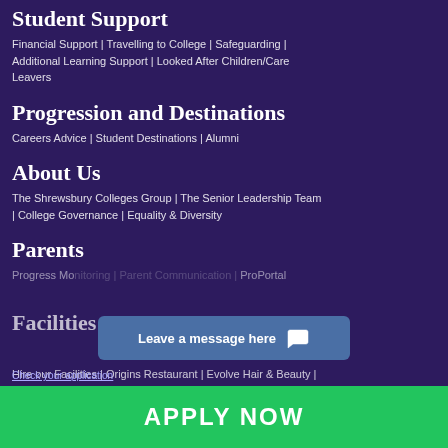Student Support
Financial Support | Travelling to College | Safeguarding | Additional Learning Support | Looked After Children/Care Leavers
Progression and Destinations
Careers Advice | Student Destinations | Alumni
About Us
The Shrewsbury Colleges Group | The Senior Leadership Team | College Governance | Equality & Diversity
Parents
Progress Monitoring | Parent Communication | ProPortal
Facilities
Hire our Facilities | Origins Restaurant | Evolve Hair & Beauty |
[Figure (other): Blue chat widget overlay with text 'Leave a message here' and chat bubble icon]
[Figure (other): Green APPLY NOW button bar at bottom of page]
Check your application